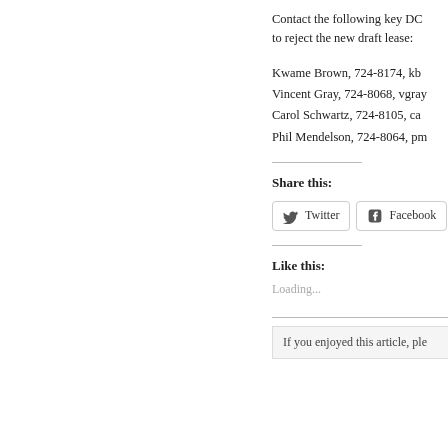Contact the following key DC officials to reject the new draft lease:
Kwame Brown, 724-8174, kb...
Vincent Gray, 724-8068, vgray...
Carol Schwartz, 724-8105, ca...
Phil Mendelson, 724-8064, pm...
Share this:
Like this:
Loading...
If you enjoyed this article, ple...